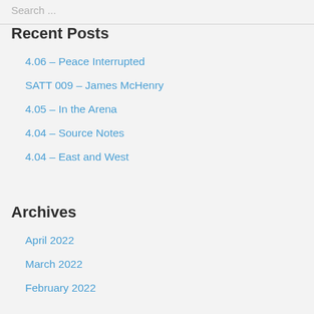Search ...
Recent Posts
4.06 – Peace Interrupted
SATT 009 – James McHenry
4.05 – In the Arena
4.04 – Source Notes
4.04 – East and West
Archives
April 2022
March 2022
February 2022